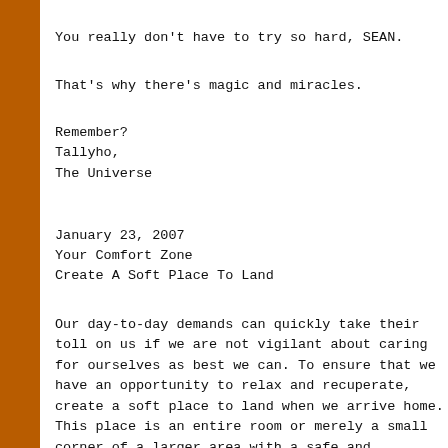You really don't have to try so hard, SEAN.
That's why there's magic and miracles.
Remember?
Tallyho,
The Universe
January 23, 2007
Your Comfort Zone
Create A Soft Place To Land
Our day-to-day demands can quickly take their toll on us if we are not vigilant about caring for ourselves as best we can. To ensure that we have an opportunity to relax and recuperate, create a soft place to land when we arrive home. This place is an entire room or merely a small corner of a larger area with a safe and comforting refuge in which we can decompress from the day's stresses. There, we are enveloped in fe